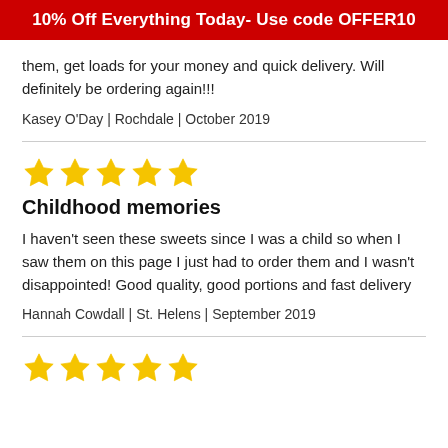10% Off Everything Today- Use code OFFER10
them, get loads for your money and quick delivery. Will definitely be ordering again!!!
Kasey O'Day | Rochdale | October 2019
★★★★★
Childhood memories
I haven't seen these sweets since I was a child so when I saw them on this page I just had to order them and I wasn't disappointed! Good quality, good portions and fast delivery
Hannah Cowdall | St. Helens | September 2019
★★★★★